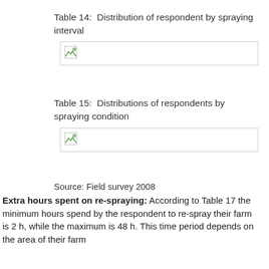Table 14:  Distribution of respondent by spraying interval
[Figure (table-as-image): Broken/missing image placeholder for Table 14 - Distribution of respondent by spraying interval]
Table 15:  Distributions of respondents by spraying condition
[Figure (table-as-image): Broken/missing image placeholder for Table 15 - Distributions of respondents by spraying condition]
Source: Field survey 2008
Extra hours spent on re-spraying: According to Table 17 the minimum hours spend by the respondent to re-spray their farm is 2 h, while the maximum is 48 h. This time period depends on the area of their farm